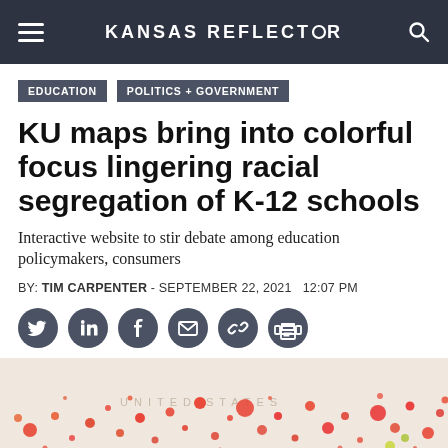KANSAS REFLECTOR
EDUCATION
POLITICS + GOVERNMENT
KU maps bring into colorful focus lingering racial segregation of K-12 schools
Interactive website to stir debate among education policymakers, consumers
BY: TIM CARPENTER - SEPTEMBER 22, 2021   12:07 PM
[Figure (map): Interactive map of the United States showing colored dots representing racial segregation data in K-12 schools, with red and orange dots densely distributed across the country.]